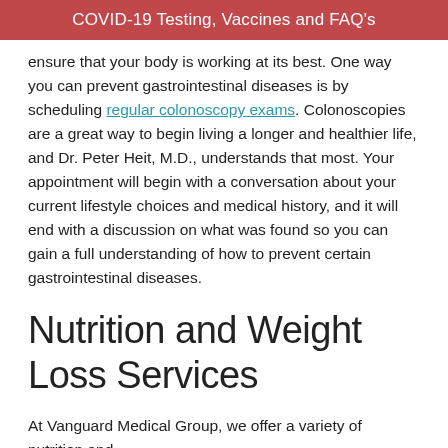COVID-19 Testing, Vaccines and FAQ's
ensure that your body is working at its best. One way you can prevent gastrointestinal diseases is by scheduling regular colonoscopy exams. Colonoscopies are a great way to begin living a longer and healthier life, and Dr. Peter Heit, M.D., understands that most. Your appointment will begin with a conversation about your current lifestyle choices and medical history, and it will end with a discussion on what was found so you can gain a full understanding of how to prevent certain gastrointestinal diseases.
Nutrition and Weight Loss Services
At Vanguard Medical Group, we offer a variety of nutrition and